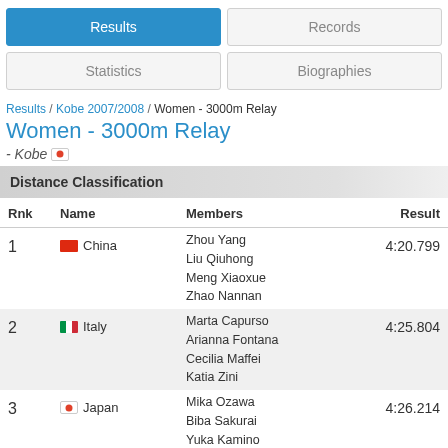Results | Records | Statistics | Biographies
Results / Kobe 2007/2008 / Women - 3000m Relay
Women - 3000m Relay
- Kobe
Distance Classification
| Rnk | Name | Members | Result |
| --- | --- | --- | --- |
| 1 | China | Zhou Yang
Liu Qiuhong
Meng Xiaoxue
Zhao Nannan | 4:20.799 |
| 2 | Italy | Marta Capurso
Arianna Fontana
Cecilia Maffei
Katia Zini | 4:25.804 |
| 3 | Japan | Mika Ozawa
Biba Sakurai
Yuka Kamino
Ayuko Ito | 4:26.214 |
| 4 | Korea | Jin Sun-Yu
Yang Shin-Young
Jung Eun-Ju | 4:35.079 |